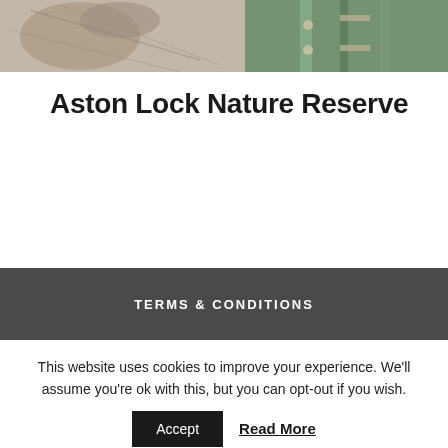[Figure (photo): Two-panel photo strip: left panel shows a close-up of an animal (bird/heron), right panel shows a canal lock gate structure with metal hardware.]
Aston Lock Nature Reserve
TERMS & CONDITIONS
This website uses cookies to improve your experience. We'll assume you're ok with this, but you can opt-out if you wish.
Accept  Read More